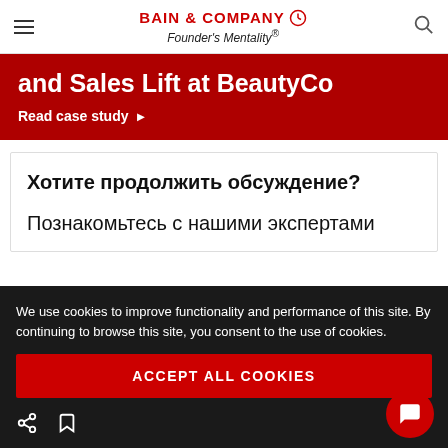BAIN & COMPANY — Founder's Mentality®
and Sales Lift at BeautyCo
Read case study ▶
Хотите продолжить обсуждение?
Познакомьтесь с нашими экспертами
We use cookies to improve functionality and performance of this site. By continuing to browse this site, you consent to the use of cookies.
ACCEPT ALL COOKIES